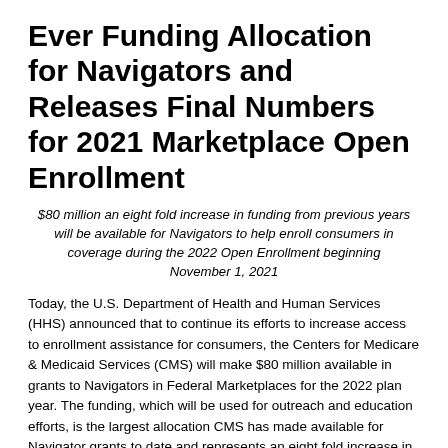Ever Funding Allocation for Navigators and Releases Final Numbers for 2021 Marketplace Open Enrollment
$80 million an eight fold increase in funding from previous years will be available for Navigators to help enroll consumers in coverage during the 2022 Open Enrollment beginning November 1, 2021
Today, the U.S. Department of Health and Human Services (HHS) announced that to continue its efforts to increase access to enrollment assistance for consumers, the Centers for Medicare & Medicaid Services (CMS) will make $80 million available in grants to Navigators in Federal Marketplaces for the 2022 plan year. The funding, which will be used for outreach and education efforts, is the largest allocation CMS has made available for Navigator grants to date and represents an eight fold increase in funding from the previous year. CMS invested $10 million annually in the Navigator program beginning with funding awarded in 2013 for the 2013 plan year...